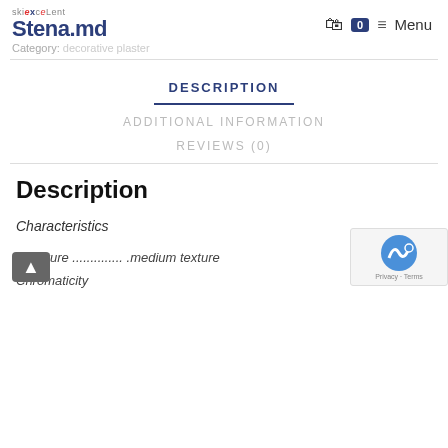Stena.md — Menu
Category: decorative plaster
DESCRIPTION
ADDITIONAL INFORMATION
REVIEWS (0)
Description
Characteristics
Structure .............. .medium texture
Chromaticity .............. white